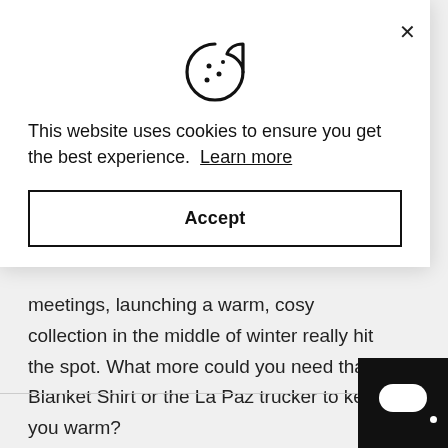[Figure (illustration): Cookie icon (circle with bite taken out and dots)]
This website uses cookies to ensure you get the best experience. Learn more
Accept
meetings, launching a warm, cosy collection in the middle of winter really hit the spot. What more could you need than a Blanket Shirt or the La Paz trucker to keep you warm?
[Figure (other): Chat widget button (dark square with white speech bubble)]